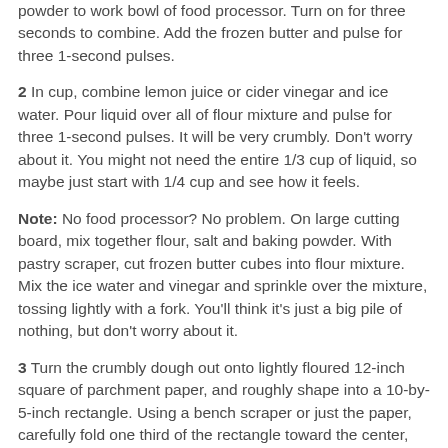powder to work bowl of food processor. Turn on for three seconds to combine. Add the frozen butter and pulse for three 1-second pulses.
2 In cup, combine lemon juice or cider vinegar and ice water. Pour liquid over all of flour mixture and pulse for three 1-second pulses. It will be very crumbly. Don't worry about it. You might not need the entire 1/3 cup of liquid, so maybe just start with 1/4 cup and see how it feels.
Note: No food processor? No problem. On large cutting board, mix together flour, salt and baking powder. With pastry scraper, cut frozen butter cubes into flour mixture. Mix the ice water and vinegar and sprinkle over the mixture, tossing lightly with a fork. You'll think it's just a big pile of nothing, but don't worry about it.
3 Turn the crumbly dough out onto lightly floured 12-inch square of parchment paper, and roughly shape into a 10-by-5-inch rectangle. Using a bench scraper or just the paper, carefully fold one third of the rectangle toward the center, then fold the other end to the center, like a letter. (It will still be crumbly at this point.) Rotate the dough 90